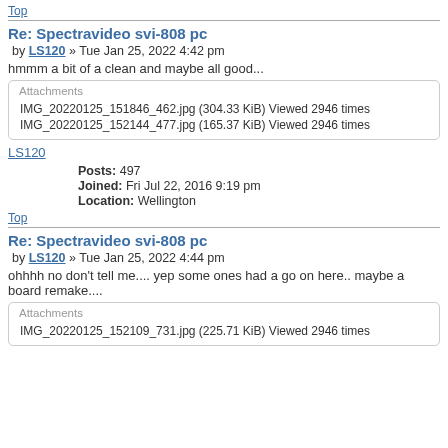Top
Re: Spectravideo svi-808 pc
by LS120 » Tue Jan 25, 2022 4:42 pm
hmmm a bit of a clean and maybe all good...
| Attachments |
| --- |
| IMG_20220125_151846_462.jpg (304.33 KiB) Viewed 2946 times |
| IMG_20220125_152144_477.jpg (165.37 KiB) Viewed 2946 times |
LS120
Posts: 497
Joined: Fri Jul 22, 2016 9:19 pm
Location: Wellington
Top
Re: Spectravideo svi-808 pc
by LS120 » Tue Jan 25, 2022 4:44 pm
ohhhh no don't tell me.... yep some ones had a go on here.. maybe a board remake....
| Attachments |
| --- |
| IMG_20220125_152109_731.jpg (225.71 KiB) Viewed 2946 times |